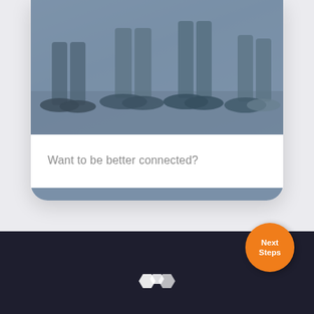[Figure (photo): Phone/app UI card showing feet and shoes of people standing, with a blue-gray tint overlay. Card has white body with text and rounded bottom corners.]
Want to be better connected?
[Figure (logo): White hexagonal/flower logo at bottom of dark navy footer]
Next Steps